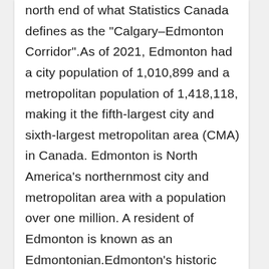north end of what Statistics Canada defines as the "Calgary–Edmonton Corridor".As of 2021, Edmonton had a city population of 1,010,899 and a metropolitan population of 1,418,118, making it the fifth-largest city and sixth-largest metropolitan area (CMA) in Canada. Edmonton is North America's northernmost city and metropolitan area with a population over one million. A resident of Edmonton is known as an Edmontonian.Edmonton's historic growth has been facilitated through the absorption of five adjacent urban municipalities (Strathcona, North Edmonton, West Edmonton, Beverly and Jasper Place) in addition to a series of annexations through 1982, and the annexation of 8,260 ha (82.6 km2; 31.9 sq mi) of land from Leduc County and the City of